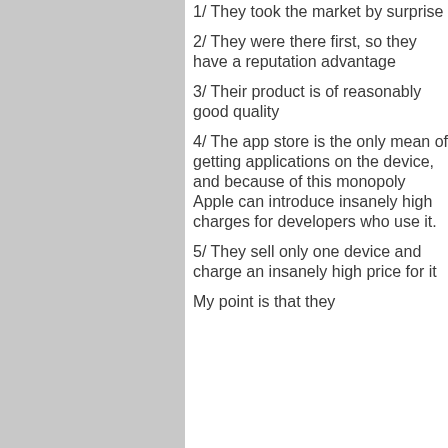1/ They took the market by surprise
2/ They were there first, so they have a reputation advantage
3/ Their product is of reasonably good quality
4/ The app store is the only mean of getting applications on the device, and because of this monopoly Apple can introduce insanely high charges for developers who use it.
5/ They sell only one device and charge an insanely high price for it
My point is that they